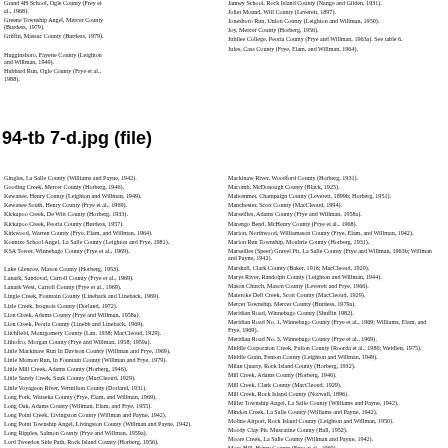Grand 4H School, Ogle County (Frey et al., 1968). Greene Township Angel, Mercer County (Burdess, 1979). Griffin, Massac County (Burdess, 1979). Hugginsboro, Fayette County (Leighton and Willman, 1949). Hubbard Run, Ogle County (Frye et al., 1988)
Janney School, Rock Island County (Nange and Gilden, 1931). Joliet Mound, Will County (Leverett, 1897). Jonesboro Run, Union County (Leighton and Willman, 1950). Joy, Mercer County (Horberg, 1956). Jubilee College, Peoria County (Frye and Willman, 1963a). See table 6. Jules, Cass County (Frye, Elam, and Willman, 1964)
94-tb 7-d.jpg (file)
Gingles, La Salle County (Williams and Payne, 1942). Gooding Creek, Mercer County (Horberg, 1946). Kewanee, Henry County (Leighton and Willman, 1949). Kewanee South, Henry County (Frye et al., 1969). Kickapoo Creek, De Witt County (Horberg, 1933). Kickapoo Creek, Peoria County (Burdess, 1957). Kirkwood, Warren County (Frye, Elam, and Willman, 1964). Kountze School Angel, La Salle County (Leighton and Frye, 1981). KSA Tower, Winnebago County (Frye et al., 1969). Lake Glencoe, Mason County (Horberg, 1953). Lanark, Sandoval, Carroll County (Frye et al., 1969). Lanark West, Carroll County (Frye et al., 1969). Lingle Creek, Fountain County (Lineback and Lineback, 1969). Lisle Creek, Iroquois County (Dorland, 1972). Lion Creek, Adams County (Frye and Willman, 1958a). Lion Creek, Peoria County (Linebb and Lineback, 1969). Litchfield, Montgomery County (Lan. 1938; MacCleoud, 1929). Lithofco, Morgan County (Frye and Willman, 1958; 1959a). Little Mackinaw Run In Davison County (Willman and Frye, 1969). Little Momon Run, In Fountain County (Willman and Frye, 1979). Little Mill Creek, Adams County (Horberg, 1946). Little Sandy Creek, Sauk County (MacCleoud, 1929). Little Voyageon River, Vermilion County (Dorland, 1931). Long Fork, Watseka County (Frye, Elam, and Willman, 1969). Long Oak, Adams County (Willman, Elam, and Frye, 1955). Long Point Creek, Livingston County (Willman and Payne, 1942). Long Point Township Angel, Livingston County (Willman and Payne, 1942). Long Ripples, Salmon County (Frye and Willman, 1959a). Lord Tweedon Side Path, Rock Island County (Horberg, 1956). Lowden, Fayette County (MacCleoud, 1928). Louisville, Clay County (Leverett, 1899a). McAlister School, Whiteside County (Frye et al., 1969). MacLintoc, Tazewell County (Horberg, 1951).
Mackinaw River, Woodford County (Horberg, 1931). Macomb, McDonough County (Black, 1925). Mahommet, Champaign County (Leverett, 1899b; Horberg, 1951). Manchester, Scott County (MacCleoud, 1994). Marseilles, Adams County (Frye and Willman, 1958a). Marengo Bend, McHenry County (Frye et al., 1968). Marion, Northwood, Williamsson County (Frye, Elam, and Willman, 1942). Marion Run Township, Moultrie County (Horberg, 1931). Marseilles (Speer) Gravel Pit, La Salle County (Frye and Willman, 1963b; Willman and Payne, 1942). Marshall, Clark County (Baker, 1916; MacCleoud, 1929). Marys River, Randolph County (Leighton and Willman, 1944). Mason Church, Mason County (Leverett and Frye, 1966). Materoke Dell Creek, Scott County (MacCleoud, 1929). Mercer Township, Mercer County (Burdess, 1979a). Meridian Road, Winnebago County (Shuflin 1982). Meridian Road No. 1, Winnebago County (Frye et al., 1969; Williams, Elam, and Frye, 1969). Meridian Road No. 3, Winnebago County (Frye et al., 1969). Middle Corporaton Creek, Fulton County (Roorda et al., 1980; Weidlen, 1975). Middle Grain, Fenton County (Leighton and Willman, 1949). Milan Quarry, Rock Island County (Horberg, 1932). Mill Creek, Adams County (Horberg, 1946). Mill Creek, Clark County (MacCleoud, 1929). Mill Creek, Rock Island County (Norwall, 1896). Miller Township Angel, La Salle County (Williams and Payne, 1942). Mindon Creek, La Salle County (Williams and Payne, 1942). Moline Airport, Rock Island County (Leighton and Willman, 1950). Moody Clay Pit, Muscatine County (Ball, 1952). Moore Creek, La Salle County (Willman and Payne, 1942). Moro Hill, Henry County (Frye et al., 1969). Morrison, Whiteside County (Frye, Elam, and Willman, 1963; Frye et al., 1988). Mound Chapel, Fulton County (Burdess, 1957). Mt. Carroll, Carroll County (Shuflin, 1896). Mt. Carroll North, Carroll County (Frye et al., 1969). Mt. Carroll South, Carroll County (Frye et al., 1969; Shuflin, 1896). Mt. Brown Benchmark, Ogle County (Shuflin, 1994).